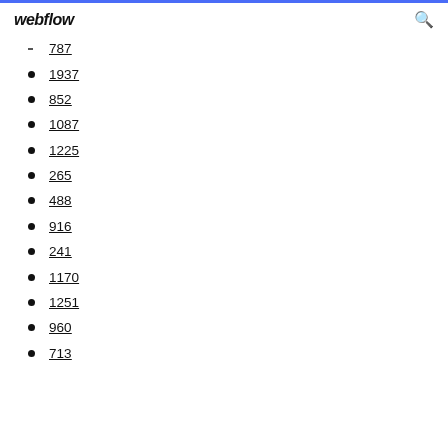webflow
787
1937
852
1087
1225
265
488
916
241
1170
1251
960
713